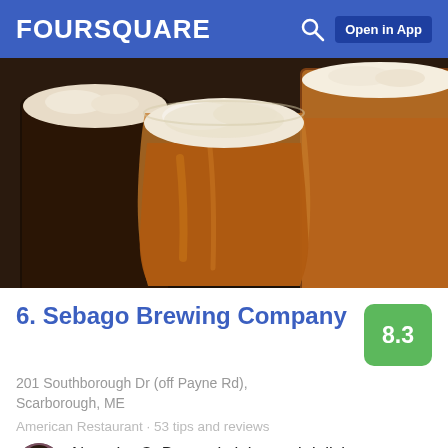FOURSQUARE  Open in App
[Figure (photo): Three glasses of beer on a dark surface — a dark stout in a mug on the left, a golden amber ale in a pint glass in the center, and another amber ale on the right.]
6. Sebago Brewing Company
201 Southborough Dr (off Payne Rd), Scarborough, ME
American Restaurant · 53 tips and reviews
Natasha C: Burger is juicy and delicious